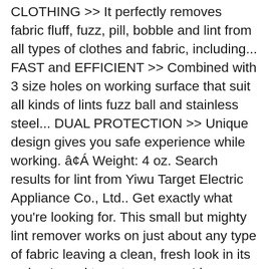CLOTHING >> It perfectly removes fabric fluff, fuzz, pill, bobble and lint from all types of clothes and fabric, including... FAST and EFFICIENT >> Combined with 3 size holes on working surface that suit all kinds of lints fuzz ball and stainless steel... DUAL PROTECTION >> Unique design gives you safe experience while working. â¢Á Weight: 4 oz. Search results for lint from Yiwu Target Electric Appliance Co., Ltd.. Get exactly what you're looking for. This small but mighty lint remover works on just about any type of fabric leaving a clean, fresh look in its wake. I need to get one soon, I have so many blankets and a few sweaters that could use a shave. This post is literally so timely! You might also want to inspect our range of animal and pet hair combs and lint rollers, and other items in our range of industry-leading fabric care equipment. The Mainstays portable electric lint shaver is a great way to restore your fabrics. With 3 blades you get a close and clean cut fabric clean up. x 2 in. Lint Remover Fuzz Remover Fabric Shaver Portable Fabric Sweater Fuzz Shaver Pill Battery Operated Lint Remover Shaver US $1.18-$1.49 / Piece 1000 Pieces (Min Order)